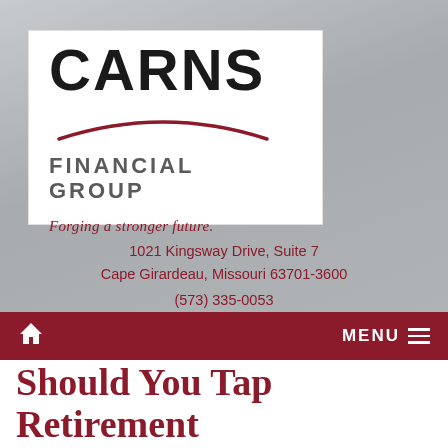[Figure (logo): Carns Financial Group logo with arc graphic and tagline 'Forging a stronger future.']
1021 Kingsway Drive, Suite 7
Cape Girardeau, Missouri 63701-3600
(573) 335-0053
dan@carnsfinancial.com
MENU
Should You Tap Retirement